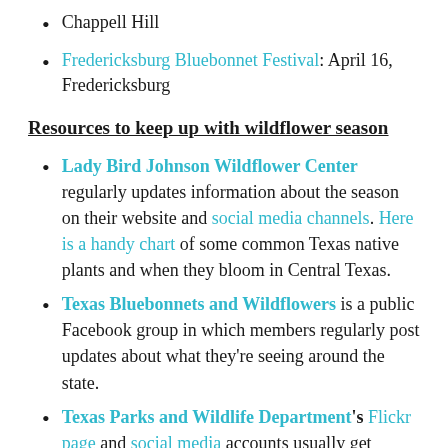Chappell Hill
Fredericksburg Bluebonnet Festival: April 16, Fredericksburg
Resources to keep up with wildflower season
Lady Bird Johnson Wildflower Center regularly updates information about the season on their website and social media channels. Here is a handy chart of some common Texas native plants and when they bloom in Central Texas.
Texas Bluebonnets and Wildflowers is a public Facebook group in which members regularly post updates about what they're seeing around the state.
Texas Parks and Wildlife Department's Flickr page and social media accounts usually get populated with wildflower sightings from state parks and